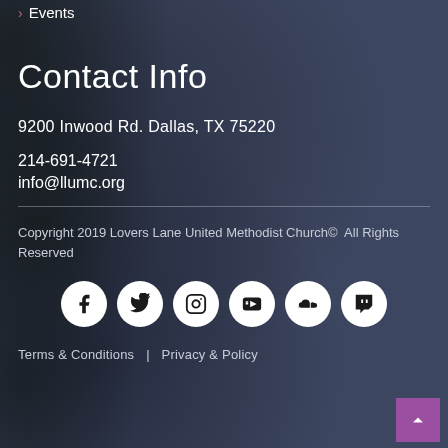> Events
Contact Info
9200 Inwood Rd. Dallas, TX 75220
214-691-4721
info@llumc.org
Copyright 2019 Lovers Lane United Methodist Church©  All Rights Reserved
[Figure (illustration): Row of six social media icon circles (Facebook, Twitter, Instagram, YouTube, SoundCloud, Twitch) in white circles on dark background]
Terms & Conditions  |  Privacy & Policy